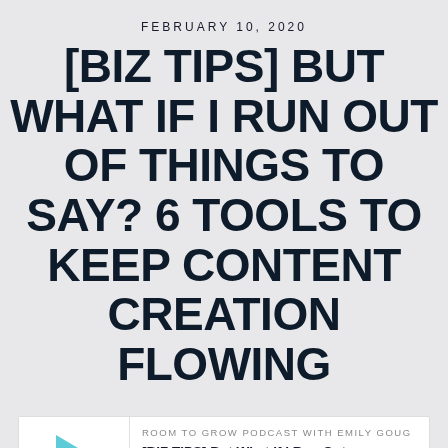FEBRUARY 10, 2020
[BIZ TIPS] BUT WHAT IF I RUN OUT OF THINGS TO SAY? 6 TOOLS TO KEEP CONTENT CREATION FLOWING
[Figure (screenshot): Podcast player widget showing 'Room to Grow Podcast with Emily Goug', episode '[BIZ TIPS] But What If I Run Out ...' with play button, progress bar, time display 00:00:00, and control icons (RSS, download, embed, settings)]